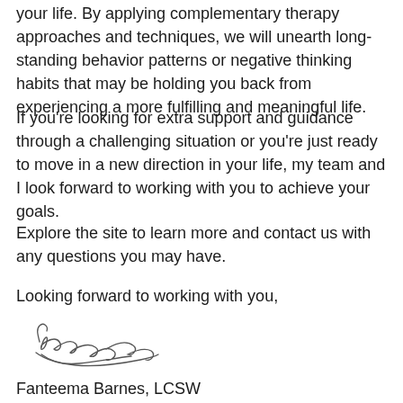your life. By applying complementary therapy approaches and techniques, we will unearth long-standing behavior patterns or negative thinking habits that may be holding you back from experiencing a more fulfilling and meaningful life.
If you're looking for extra support and guidance through a challenging situation or you're just ready to move in a new direction in your life, my team and I look forward to working with you to achieve your goals.
Explore the site to learn more and contact us with any questions you may have.
Looking forward to working with you,
[Figure (illustration): Handwritten signature of Fanteema Barnes]
Fanteema Barnes, LCSW